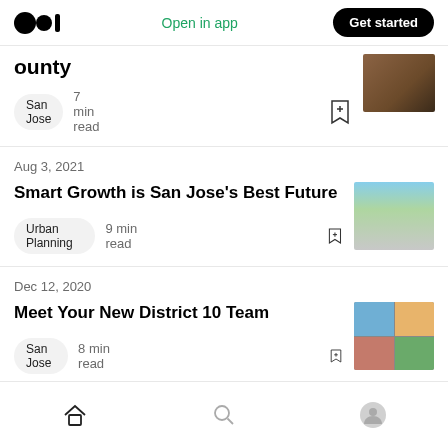Medium app header with logo, Open in app, Get started
County — 7 min read (truncated article)
Aug 3, 2021
Smart Growth is San Jose's Best Future
Urban Planning  9 min read
Dec 12, 2020
Meet Your New District 10 Team
San Jose  8 min read
Home  Search  Profile navigation